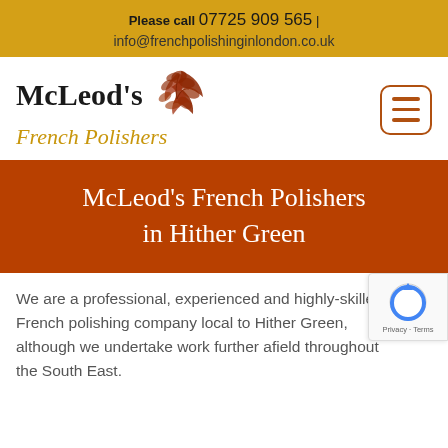Please call 07725 909 565 | info@frenchpolishinginlondon.co.uk
[Figure (logo): McLeod's French Polishers logo with leaf/fern icon and company name in serif font]
McLeod's French Polishers in Hither Green
We are a professional, experienced and highly-skilled French polishing company local to Hither Green, although we undertake work further afield throughout the South East.